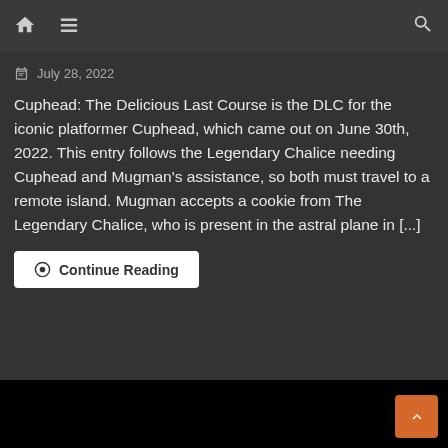Home | Menu | Search
July 28, 2022
Cuphead: The Delicious Last Course is the DLC for the iconic platformer Cuphead, which came out on June 30th, 2022. This entry follows the Legendary Chalice needing Cuphead and Mugman's assistance, so both must travel to a remote island. Mugman accepts a cookie from The Legendary Chalice, who is present in the astral plane in [...]
Continue Reading
[Figure (photo): Dark/black image area at the bottom of the page]